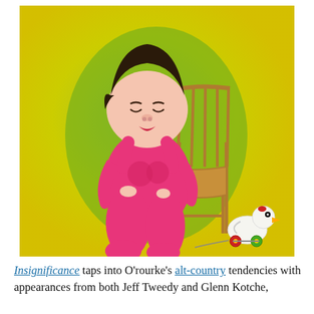[Figure (illustration): Illustration of a chubby child in a bright pink outfit sitting beside a wooden chair on a yellow-green background, with a small pull-toy duck to the right.]
Insignificance taps into O'rourke's alt-country tendencies with appearances from both Jeff Tweedy and Glenn Kotche,